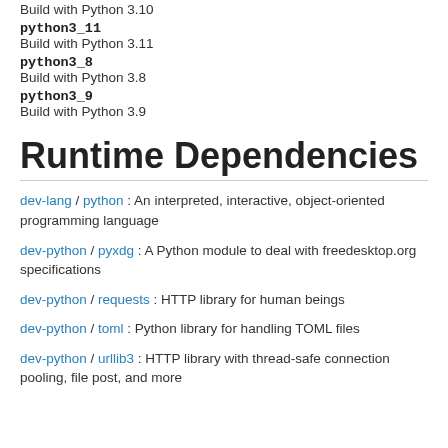python3_11
Build with Python 3.11
python3_8
Build with Python 3.8
python3_9
Build with Python 3.9
Runtime Dependencies
dev-lang / python : An interpreted, interactive, object-oriented programming language
dev-python / pyxdg : A Python module to deal with freedesktop.org specifications
dev-python / requests : HTTP library for human beings
dev-python / toml : Python library for handling TOML files
dev-python / urllib3 : HTTP library with thread-safe connection pooling, file post, and more